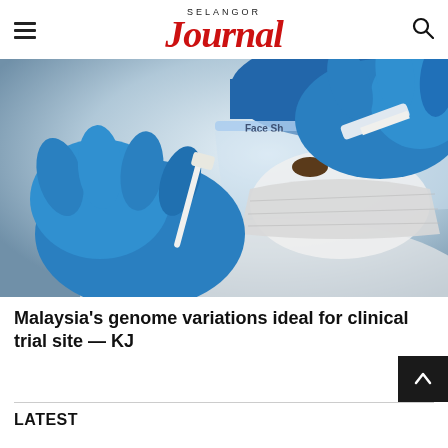SELANGOR JOURNAL
[Figure (photo): A healthcare worker wearing blue latex gloves, a blue cap, face shield, and surgical mask, handling a COVID-19 test swab kit.]
Malaysia's genome variations ideal for clinical trial site — KJ
LATEST